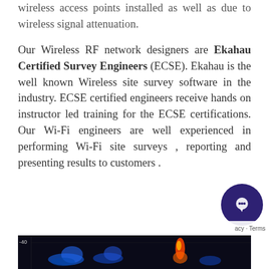wireless access points installed as well as due to wireless signal attenuation.
Our Wireless RF network designers are Ekahau Certified Survey Engineers (ECSE). Ekahau is the well known Wireless site survey software in the industry. ECSE certified engineers receive hands on instructor led training for the ECSE certifications. Our Wi-Fi engineers are well experienced in performing Wi-Fi site surveys , reporting and presenting results to customers .
[Figure (screenshot): Bottom portion of a wireless spectrum analyzer or heatmap screenshot showing signal data on a dark background with colored signal indicators. A -40 dB label is visible on the y-axis.]